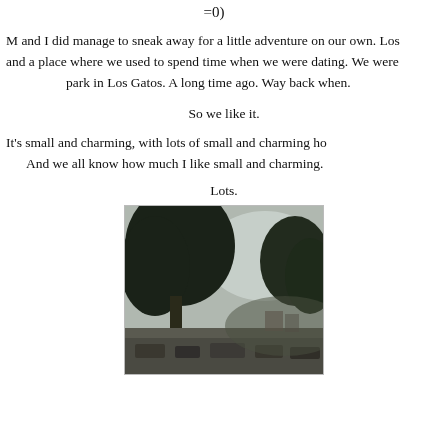=0)
M and I did manage to sneak away for a little adventure on our own. Los and a place where we used to spend time when we were dating. We were park in Los Gatos. A long time ago. Way back when.
So we like it.
It's small and charming, with lots of small and charming ho And we all know how much I like small and charming.
Lots.
[Figure (photo): Street scene in Los Gatos with large trees lining the road, parked cars, overcast sky, and hills in the background.]